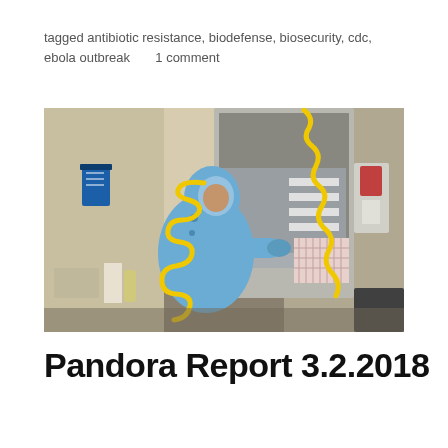tagged antibiotic resistance, biodefense, biosecurity, cdc, ebola outbreak      1 comment
[Figure (photo): A person wearing a blue full-body protective suit with a yellow coiled air hose working at a biosafety cabinet in a laboratory setting.]
Pandora Report 3.2.2018